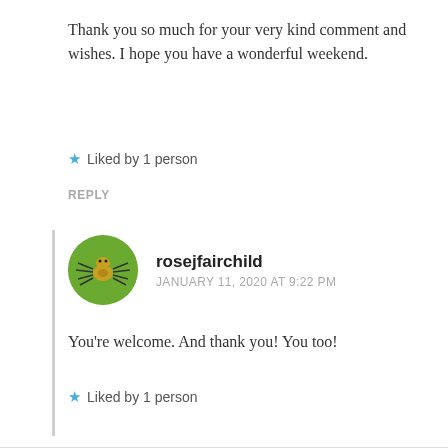Thank you so much for your very kind comment and wishes. I hope you have a wonderful weekend.
★ Liked by 1 person
REPLY
rosejfairchild
JANUARY 11, 2020 AT 9:22 PM
You're welcome. And thank you! You too!
★ Liked by 1 person